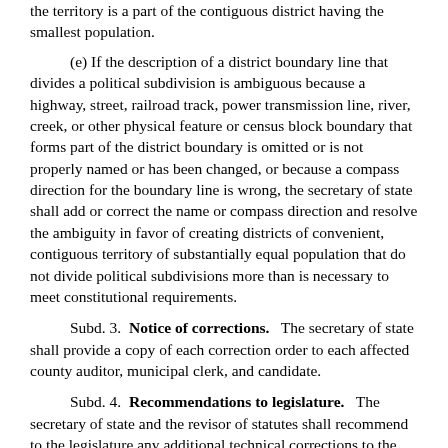the territory is a part of the contiguous district having the smallest population.
(e) If the description of a district boundary line that divides a political subdivision is ambiguous because a highway, street, railroad track, power transmission line, river, creek, or other physical feature or census block boundary that forms part of the district boundary is omitted or is not properly named or has been changed, or because a compass direction for the boundary line is wrong, the secretary of state shall add or correct the name or compass direction and resolve the ambiguity in favor of creating districts of convenient, contiguous territory of substantially equal population that do not divide political subdivisions more than is necessary to meet constitutional requirements.
Subd. 3. Notice of corrections. The secretary of state shall provide a copy of each correction order to each affected county auditor, municipal clerk, and candidate.
Subd. 4. Recommendations to legislature. The secretary of state and the revisor of statutes shall recommend to the legislature any additional technical corrections to the redistricting plan they deem necessary or desirable.